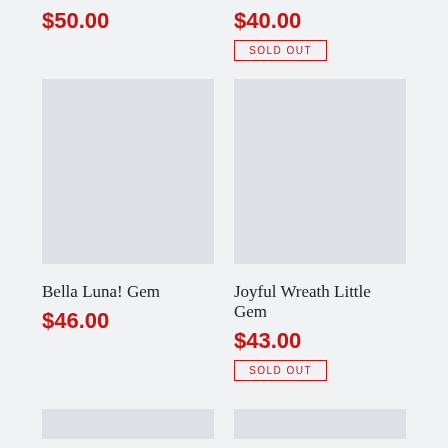$50.00
$40.00
SOLD OUT
[Figure (photo): Product image placeholder for Bella Luna! Gem - light gray rectangle]
[Figure (photo): Product image placeholder for Joyful Wreath Little Gem - light gray rectangle]
Bella Luna! Gem
$46.00
Joyful Wreath Little Gem
$43.00
SOLD OUT
[Figure (photo): Partial product image placeholder - bottom of page left]
[Figure (photo): Partial product image placeholder - bottom of page right]